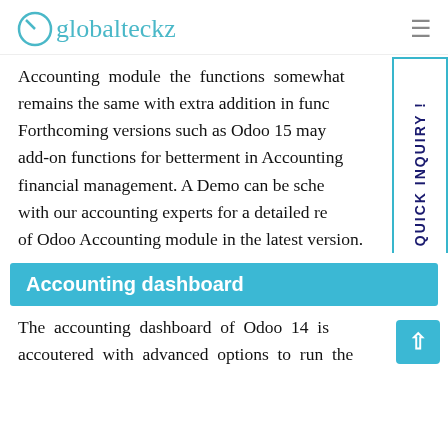globalteckz
Accounting module the functions somewhat remains the same with extra addition in functions. Forthcoming versions such as Odoo 15 may add-on functions for betterment in Accounting financial management. A Demo can be scheduled with our accounting experts for a detailed review of Odoo Accounting module in the latest version.
[Figure (other): QUICK INQUIRY! vertical sidebar button with teal border]
Accounting dashboard
The accounting dashboard of Odoo 14 is accoutered with advanced options to run the